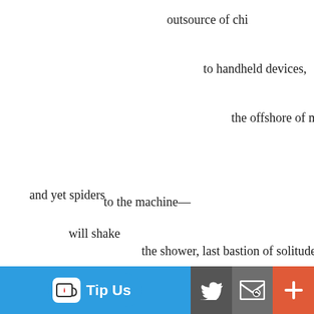outsource of chi
to handheld devices,
the offshore of me
to the machine—
the shower, last bastion of solitude.
They don't have ears
and yet spiders
will shake
their strings, reframing